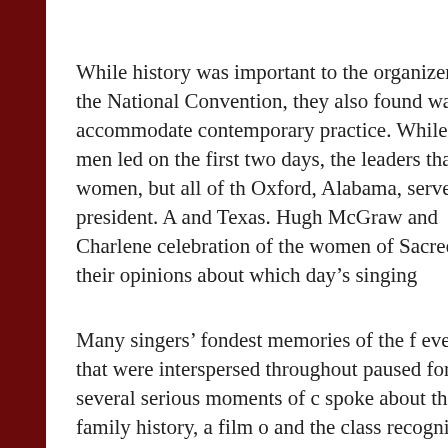While history was important to the organizers of the National Convention, they also found ways to accommodate contemporary practice. While only men led on the first two days, the leaders that day women, but all of th Oxford, Alabama, served as president. A and Texas. Hugh McGraw and Charlene celebration of the women of Sacred Har their opinions about which day's singing
Many singers' fondest memories of the f events that were interspersed throughout paused for several serious moments of c spoke about their family history, a film o and the class recognized the nine living Aaron, who had first proposed the idea f singers who were unable to attend were